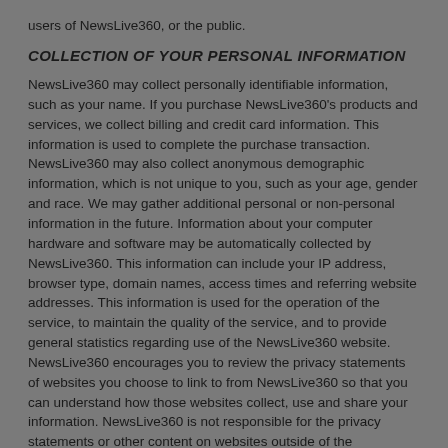users of NewsLive360, or the public.
COLLECTION OF YOUR PERSONAL INFORMATION
NewsLive360 may collect personally identifiable information, such as your name. If you purchase NewsLive360's products and services, we collect billing and credit card information. This information is used to complete the purchase transaction. NewsLive360 may also collect anonymous demographic information, which is not unique to you, such as your age, gender and race. We may gather additional personal or non-personal information in the future. Information about your computer hardware and software may be automatically collected by NewsLive360. This information can include your IP address, browser type, domain names, access times and referring website addresses. This information is used for the operation of the service, to maintain the quality of the service, and to provide general statistics regarding use of the NewsLive360 website. NewsLive360 encourages you to review the privacy statements of websites you choose to link to from NewsLive360 so that you can understand how those websites collect, use and share your information. NewsLive360 is not responsible for the privacy statements or other content on websites outside of the NewsLive360 website.